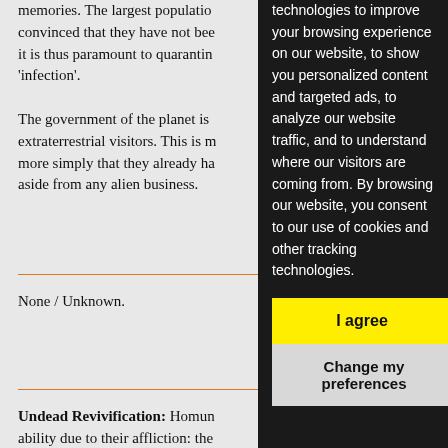memories. The largest population convinced that they have not been it is thus paramount to quarantin 'infection'.
The government of the planet is extraterrestrial visitors. This is more simply that they already ha aside from any alien business.
Subsp
None / Unknown.
Spe
Undead Revivification: Homun ability due to their affliction: the
technologies to improve your browsing experience on our website, to show you personalized content and targeted ads, to analyze our website traffic, and to understand where our visitors are coming from. By browsing our website, you consent to our use of cookies and other tracking technologies.
I agree
Change my preferences